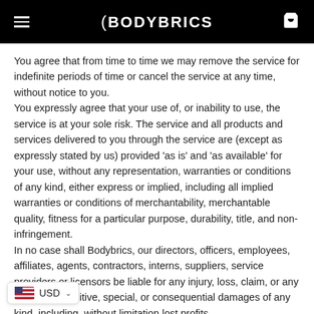BODYBRICS
You agree that from time to time we may remove the service for indefinite periods of time or cancel the service at any time, without notice to you.
You expressly agree that your use of, or inability to use, the service is at your sole risk. The service and all products and services delivered to you through the service are (except as expressly stated by us) provided 'as is' and 'as available' for your use, without any representation, warranties or conditions of any kind, either express or implied, including all implied warranties or conditions of merchantability, merchantable quality, fitness for a particular purpose, durability, title, and non-infringement.
In no case shall Bodybrics, our directors, officers, employees, affiliates, agents, contractors, interns, suppliers, service providers or licensors be liable for any injury, loss, claim, or any incidental, punitive, special, or consequential damages of any kind, including, without limitation lost profits,